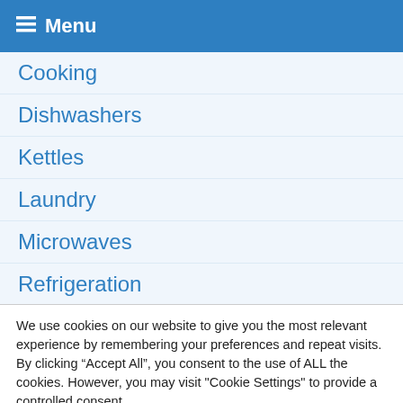Menu
Cooking
Dishwashers
Kettles
Laundry
Microwaves
Refrigeration
Small Appliances
Tumble Dryers
We use cookies on our website to give you the most relevant experience by remembering your preferences and repeat visits. By clicking “Accept All”, you consent to the use of ALL the cookies. However, you may visit "Cookie Settings" to provide a controlled consent.